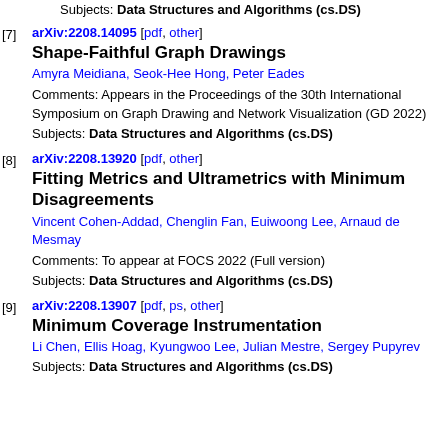Subjects: Data Structures and Algorithms (cs.DS)
[7] arXiv:2208.14095 [pdf, other]
Shape-Faithful Graph Drawings
Amyra Meidiana, Seok-Hee Hong, Peter Eades
Comments: Appears in the Proceedings of the 30th International Symposium on Graph Drawing and Network Visualization (GD 2022)
Subjects: Data Structures and Algorithms (cs.DS)
[8] arXiv:2208.13920 [pdf, other]
Fitting Metrics and Ultrametrics with Minimum Disagreements
Vincent Cohen-Addad, Chenglin Fan, Euiwoong Lee, Arnaud de Mesmay
Comments: To appear at FOCS 2022 (Full version)
Subjects: Data Structures and Algorithms (cs.DS)
[9] arXiv:2208.13907 [pdf, ps, other]
Minimum Coverage Instrumentation
Li Chen, Ellis Hoag, Kyungwoo Lee, Julian Mestre, Sergey Pupyrev
Subjects: Data Structures and Algorithms (cs.DS)